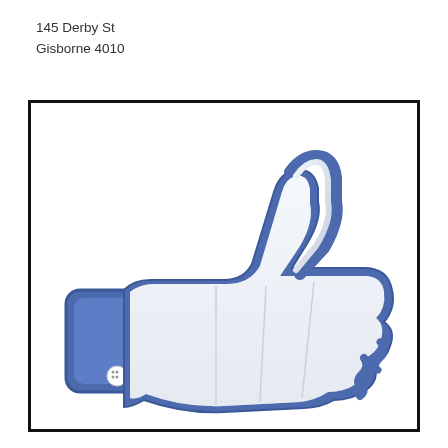145 Derby St
Gisborne 4010
[Figure (illustration): Facebook 'Like' thumbs-up icon in blue and white, classic Facebook style with a hand sleeve on the left and thumb pointing up, inside a black-bordered rectangle.]